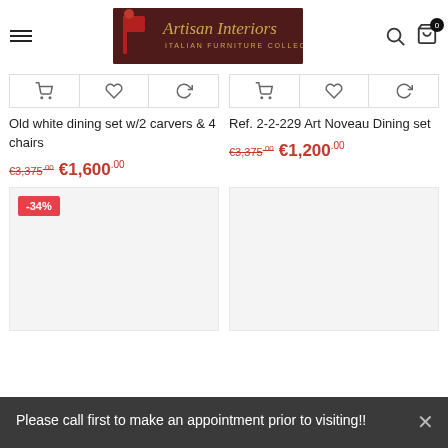[Figure (logo): Artisan Interiors - Italian Furniture Collections logo on dark red background with gold text]
Old white dining set w/2 carvers & 4 chairs
€3,375.00 €1,600.00
Ref. 2-2-229 Art Noveau Dining set
€3,375.00 €1,200.00
[Figure (photo): Product image placeholder with -34% discount badge]
[Figure (photo): Product image placeholder, no discount badge]
Please call first to make an appointment prior to visiting!!